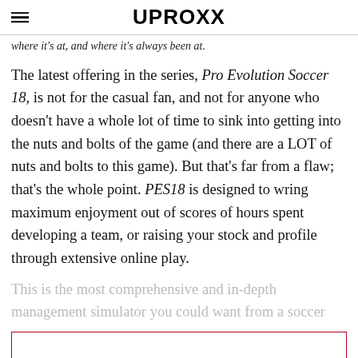UPROXX
where it's at, and where it's always been at.
The latest offering in the series, Pro Evolution Soccer 18, is not for the casual fan, and not for anyone who doesn't have a whole lot of time to sink into getting into the nuts and bolts of the game (and there are a LOT of nuts and bolts to this game). But that's far from a flaw; that's the whole point. PES18 is designed to wring maximum enjoyment out of scores of hours spent developing a team, or raising your stock and profile through extensive online play.
This is the most comprehensive and in-depth management simulator you could want from a soccer
[Figure (other): Advertisement box with red border]